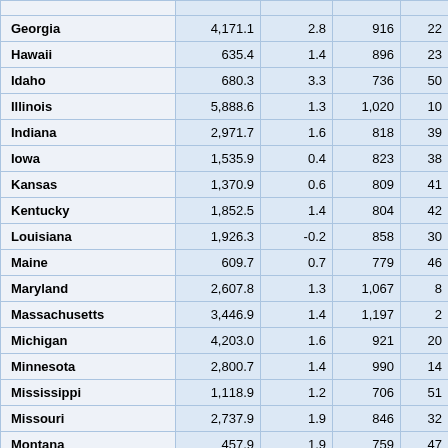| State | Col2 | Col3 | Col4 | Col5 |
| --- | --- | --- | --- | --- |
| Georgia | 4,171.1 | 2.8 | 916 | 22 |
| Hawaii | 635.4 | 1.4 | 896 | 23 |
| Idaho | 680.3 | 3.3 | 736 | 50 |
| Illinois | 5,888.6 | 1.3 | 1,020 | 10 |
| Indiana | 2,971.7 | 1.6 | 818 | 39 |
| Iowa | 1,535.9 | 0.4 | 823 | 38 |
| Kansas | 1,370.9 | 0.6 | 809 | 41 |
| Kentucky | 1,852.5 | 1.4 | 804 | 42 |
| Louisiana | 1,926.3 | -0.2 | 858 | 30 |
| Maine | 609.7 | 0.7 | 779 | 46 |
| Maryland | 2,607.8 | 1.3 | 1,067 | 8 |
| Massachusetts | 3,446.9 | 1.4 | 1,197 | 2 |
| Michigan | 4,203.0 | 1.6 | 921 | 20 |
| Minnesota | 2,800.7 | 1.4 | 990 | 14 |
| Mississippi | 1,118.9 | 1.2 | 706 | 51 |
| Missouri | 2,737.9 | 1.9 | 846 | 32 |
| Montana | 457.9 | 1.9 | 759 | 47 |